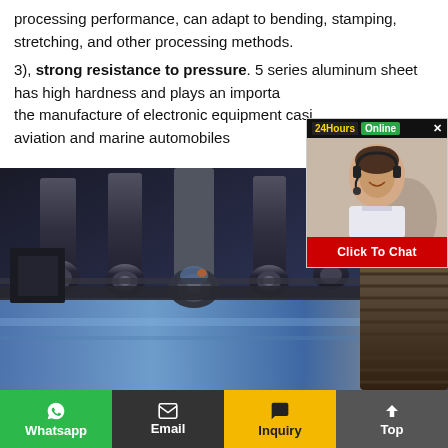processing performance, can adapt to bending, stamping, stretching, and other processing methods.
3), strong resistance to pressure. 5 series aluminum sheet has high hardness and plays an important role in the manufacture of electronic equipment casings, aviation and marine automobiles
[Figure (photo): Industrial machinery photo showing metal processing rollers/stamping equipment with dark metallic components against a blue metallic surface]
[Figure (photo): Chat popup overlay showing a customer service representative with headset, 24 Hours Online label, and Click To Chat button]
Whatsapp | Email | Inquiry | Top